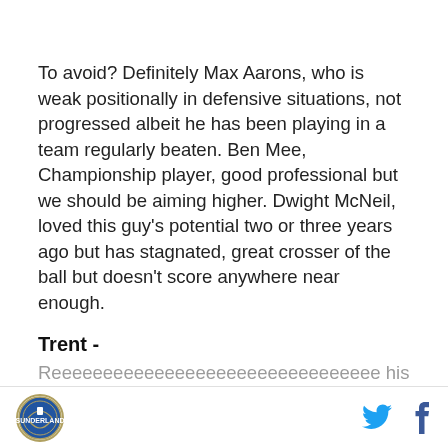To avoid? Definitely Max Aarons, who is weak positionally in defensive situations, not progressed albeit he has been playing in a team regularly beaten. Ben Mee, Championship player, good professional but we should be aiming higher. Dwight McNeil, loved this guy's potential two or three years ago but has stagnated, great crosser of the ball but doesn't score anywhere near enough.
Trent -
[logo] [twitter] [facebook]